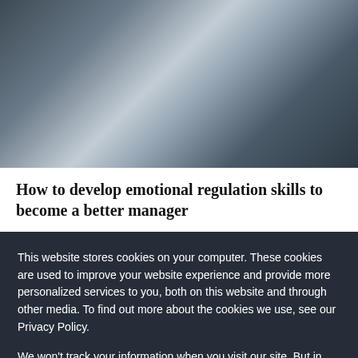[Figure (photo): A woman with blonde hair wearing a striped shirt, photographed from the shoulders up, looking to the side near a window with a reflection visible.]
How to develop emotional regulation skills to become a better manager
This website stores cookies on your computer. These cookies are used to improve your website experience and provide more personalized services to you, both on this website and through other media. To find out more about the cookies we use, see our Privacy Policy.
We won't track your information when you visit our site. But in order to comply with your preferences, we'll have to use just one tiny cookie so that you're not asked to make this choice again.